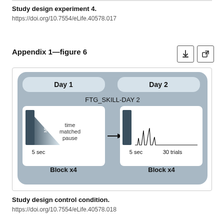Study design experiment 4.
https://doi.org/10.7554/eLife.40578.017
Appendix 1—figure 6
[Figure (schematic): Study design diagram showing two days. Day 1: MVC block with a 5-sec ramp and time matched pause, Block x4. An arrow leads to Day 2: MVC block 5 sec plus 30 trials, Block x4. Labeled FTG_SKILL-DAY 2.]
Study design control condition.
https://doi.org/10.7554/eLife.40578.018